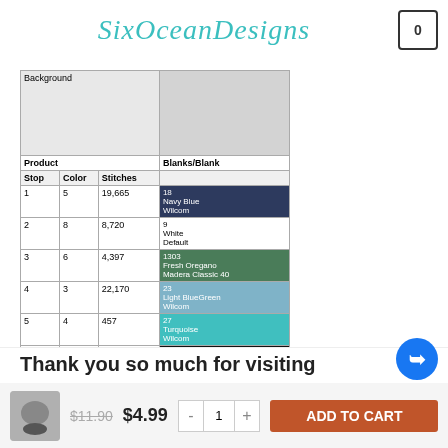SixOceanDesigns
| Background |  | Blanks/Blank |
| --- | --- | --- |
| Product |  | Blanks/Blank |
| Stop | Color | Stitches |  |
| 1 | 5 | 19,665 | 18
Navy Blue
Wilcom |
| 2 | 8 | 8,720 | 9
White
Default |
| 3 | 6 | 4,397 | 1303
Fresh Oregano
Madera Classic 40 |
| 4 | 3 | 22,170 | 23
Light BlueGreen
Wilcom |
| 5 | 4 | 457 | 27
Turquoise
Wilcom |
| 6 | 2 | 21,216 | 13
Black
Wilcom |
Thank you so much for visiting
$11.90  $4.99  - 1 +  ADD TO CART